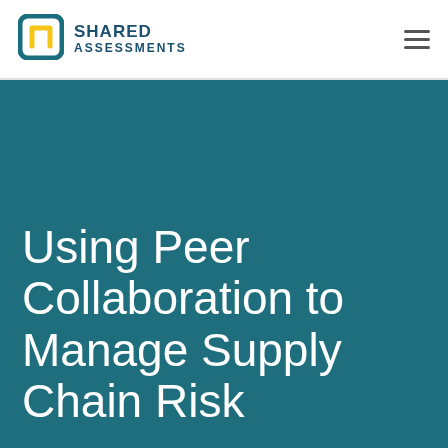[Figure (logo): Shared Assessments logo with stylized square icon in teal and yellow, and bold text 'SHARED ASSESSMENTS']
Using Peer Collaboration to Manage Supply Chain Risk